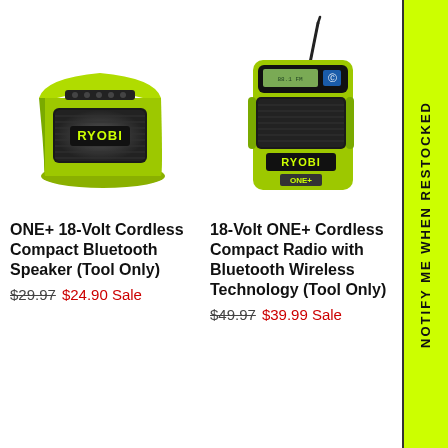[Figure (photo): RYOBI ONE+ 18-Volt Cordless Compact Bluetooth Speaker, lime green and black, viewed from front-left angle]
[Figure (photo): RYOBI 18-Volt ONE+ Cordless Compact Radio with Bluetooth Wireless Technology, lime green and black walkie-talkie style with antenna]
ONE+ 18-Volt Cordless Compact Bluetooth Speaker (Tool Only)
$29.97  $24.90 Sale
18-Volt ONE+ Cordless Compact Radio with Bluetooth Wireless Technology (Tool Only)
$49.97  $39.99 Sale
NOTIFY ME WHEN RESTOCKED